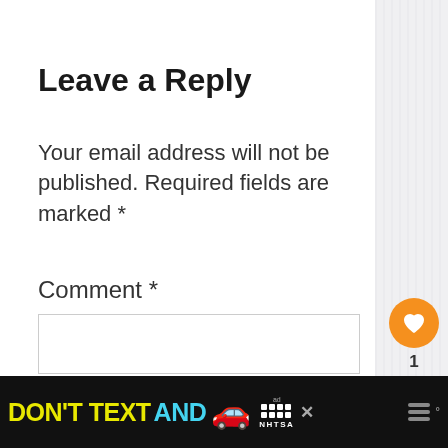Leave a Reply
Your email address will not be published. Required fields are marked *
Comment *
[Figure (screenshot): Comment text area input box, empty, with border]
[Figure (infographic): Orange heart like button with count 1, and white share button on right sidebar]
[Figure (infographic): What's Next panel: thumbnail image with orange arrow label and title 'Cycling from Cairo to Lux...']
[Figure (infographic): Ad banner: DON'T TEXT AND with car emoji, NHTSA logo, close X button, weather icon]